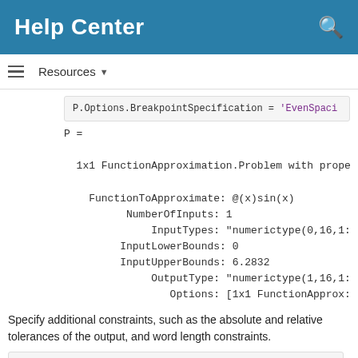Help Center
Resources ▼
P.Options.BreakpointSpecification = 'EvenSpaci
P =

  1x1 FunctionApproximation.Problem with prope

    FunctionToApproximate: @(x)sin(x)
          NumberOfInputs: 1
              InputTypes: "numerictype(0,16,1:
         InputLowerBounds: 0
         InputUpperBounds: 6.2832
              OutputType: "numerictype(1,16,1:
                 Options: [1x1 FunctionApprox:
Specify additional constraints, such as the absolute and relative tolerances of the output, and word length constraints.
P.Options.AbsTol = 2^-10;
P.Options.RelTol = 2^-6: